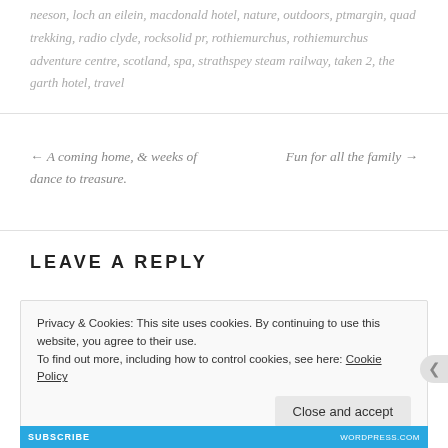neeson, loch an eilein, macdonald hotel, nature, outdoors, ptmargin, quad trekking, radio clyde, rocksolid pr, rothiemurchus, rothiemurchus adventure centre, scotland, spa, strathspey steam railway, taken 2, the garth hotel, travel
← A coming home, & weeks of dance to treasure.
Fun for all the family →
LEAVE A REPLY
Privacy & Cookies: This site uses cookies. By continuing to use this website, you agree to their use.
To find out more, including how to control cookies, see here: Cookie Policy
Close and accept